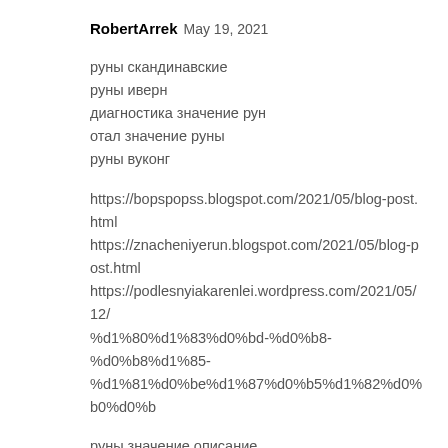RobertArrek May 19, 2021
руны скандинавские
руны иверн
диагностика значение рун
отал значение руны
руны вуконг
https://bopspopss.blogspot.com/2021/05/blog-post.html
https://znacheniyerun.blogspot.com/2021/05/blog-post.html
https://podlesnyiakarenlei.wordpress.com/2021/05/12/%d1%80%d1%83%d0%bd-%d0%b8-%d0%b8%d1%85-%d0%b8%d1%85-%d0%b8%d1%85-%d0%b8%d1%85-%d0%b8%d1%85-%d0%b8%d1%85-%d0%b8%d1%85-%d0%b8%d1%85-%d0%b8%d1%85-%d0%b8%d1%85-%d1%81%d0%be%d1%87%d0%b5%d1%82%d0%b0%d0%bd
руны значение описание
эзраэль руны
значение чувашских рун
руны…